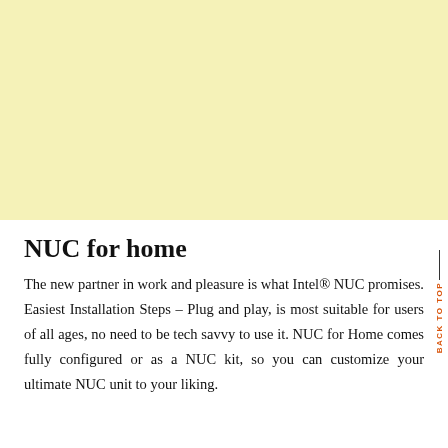[Figure (illustration): Large light yellow rectangular block filling the top portion of the page]
NUC for home
The new partner in work and pleasure is what Intel® NUC promises. Easiest Installation Steps – Plug and play, is most suitable for users of all ages, no need to be tech savvy to use it. NUC for Home comes fully configured or as a NUC kit, so you can customize your ultimate NUC unit to your liking.